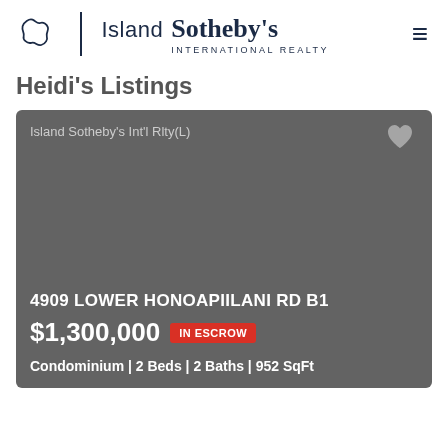[Figure (logo): Island Sotheby's International Realty logo with island/leaf icon, vertical divider, brand name and tagline]
Heidi's Listings
[Figure (photo): Real estate listing card with dark gray background showing property at 4909 Lower Honoapiilani Rd B1, listed at $1,300,000 IN ESCROW, Condominium 2 Beds 2 Baths 952 SqFt]
Island Sotheby's Int'l Rlty(L)
4909 LOWER HONOAPIILANI RD B1
$1,300,000 IN ESCROW
Condominium | 2 Beds | 2 Baths | 952 SqFt